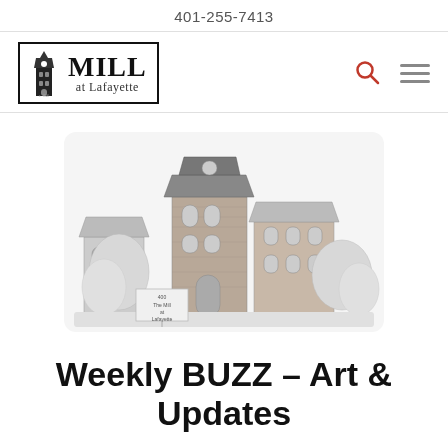401-255-7413
[Figure (logo): Mill at Lafayette logo with tower illustration, black border box, 'MILL at Lafayette' text, est. 1840]
[Figure (illustration): Pencil sketch illustration of The Mill at Lafayette building, a multi-story brick building with mansard roof tower, arched windows, trees, and a sign reading 'The Mill at Lafayette']
Weekly BUZZ – Art & Updates